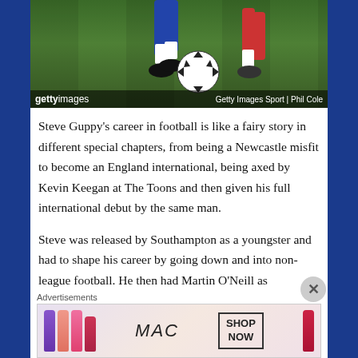[Figure (photo): Soccer/football action photo showing player legs and ball on grass field, with Getty Images Sport credit overlay. Credit: Phil Cole]
Steve Guppy's career in football is like a fairy story in different special chapters, from being a Newcastle misfit to become an England international, being axed by Kevin Keegan at The Toons and then given his full international debut by the same man.
Steve was released by Southampton as a youngster and had to shape his career by going down and into non-league football. He then had Martin O'Neill as
Advertisements
[Figure (screenshot): MAC cosmetics advertisement banner showing colorful lipsticks, MAC logo in italic text, and a SHOP NOW box]